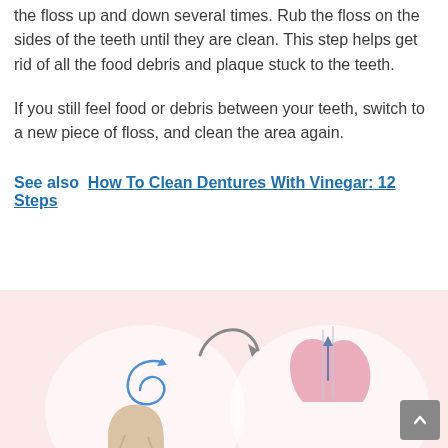the floss up and down several times. Rub the floss on the sides of the teeth until they are clean. This step helps get rid of all the food debris and plaque stuck to the teeth.
If you still feel food or debris between your teeth, switch to a new piece of floss, and clean the area again.
See also  How To Clean Dentures With Vinegar: 12 Steps
[Figure (illustration): A dental flossing illustration on a pink/rose background showing three stages: a blue spiral indicating floss wrapping motion, a curved arrow indicating direction, and floss being guided between teeth shown in cross-section.]